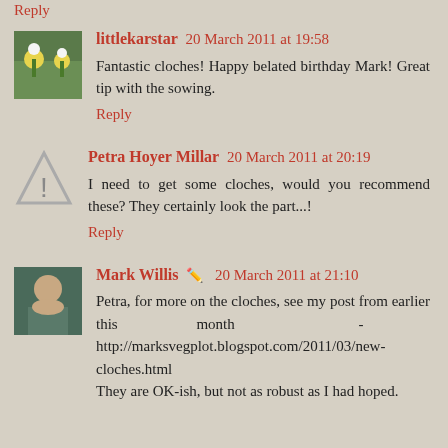Reply
littlekarstar  20 March 2011 at 19:58
Fantastic cloches! Happy belated birthday Mark! Great tip with the sowing.
Reply
Petra Hoyer Millar  20 March 2011 at 20:19
I need to get some cloches, would you recommend these? They certainly look the part...!
Reply
Mark Willis  20 March 2011 at 21:10
Petra, for more on the cloches, see my post from earlier this month - http://marksvegplot.blogspot.com/2011/03/new-cloches.html They are OK-ish, but not as robust as I had hoped.